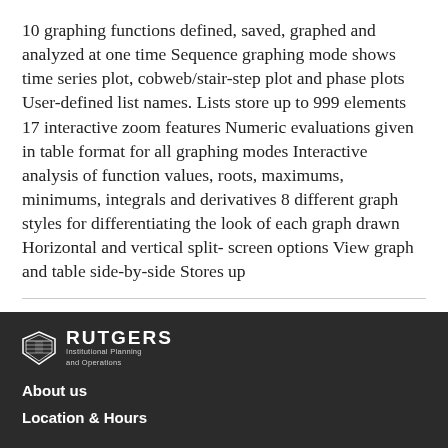10 graphing functions defined, saved, graphed and analyzed at one time Sequence graphing mode shows time series plot, cobweb/stair-step plot and phase plots User-defined list names. Lists store up to 999 elements 17 interactive zoom features Numeric evaluations given in table format for all graphing modes Interactive analysis of function values, roots, maximums, minimums, integrals and derivatives 8 different graph styles for differentiating the look of each graph drawn Horizontal and vertical split- screen options View graph and table side-by-side Stores up
[Figure (logo): Rutgers Institutional Planning and Operations logo — shield icon on left, RUTGERS text in bold uppercase with 'Institutional Planning and Operations' subtitle below]
About us
Location & Hours